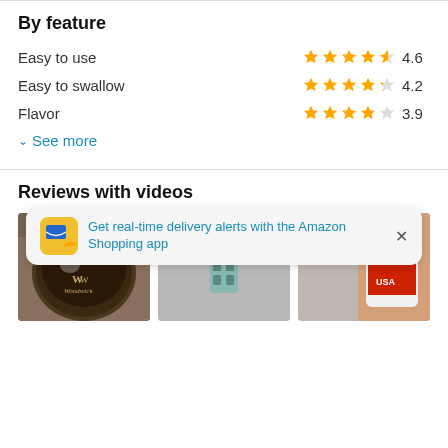By feature
Easy to use  4.6
Easy to swallow  4.2
Flavor  3.9
See more
Reviews with videos
[Figure (photo): Three video review thumbnails: first shows a round tin product (WW Woodwick branding), second shows a small teal/mint colored item on gray background, third shows a white supplement bottle labeled USA held in a hand.]
Get real-time delivery alerts with the Amazon Shopping app